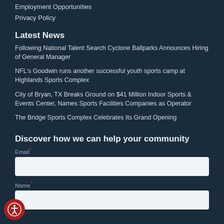Employment Opportunities
Privacy Policy
Latest News
Following National Talent Search Cyclone Ballparks Announces Hiring of General Manager
NFL's Goodwin runs another successful youth sports camp at Highlands Sports Complex
City of Bryan, TX Breaks Ground on $41 Million Indoor Sports & Events Center, Names Sports Facilities Companies as Operator
The Bridge Sports Complex Celebrates Its Grand Opening
Discover how we can help your community
Email*
Name*